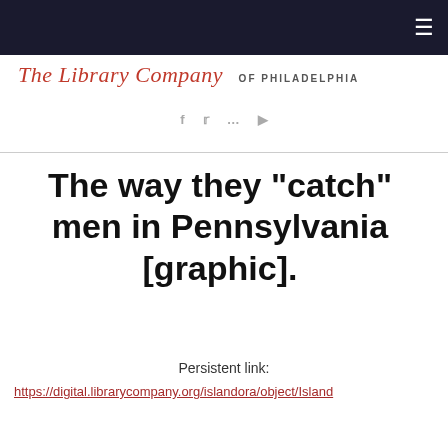The Library Company OF PHILADELPHIA
The way they "catch" men in Pennsylvania [graphic].
Persistent link:
https://digital.librarycompany.org/islandora/object/Island